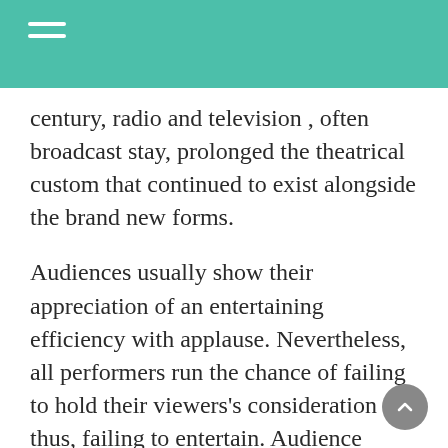century, radio and television , often broadcast stay, prolonged the theatrical custom that continued to exist alongside the brand new forms.
Audiences usually show their appreciation of an entertaining efficiency with applause. Nevertheless, all performers run the chance of failing to hold their viewers's consideration and thus, failing to entertain. Audience dissatisfaction is commonly brutally sincere and direct. Members with a bodily card can create their very own virtual card by means of the Regal Cell App by merely